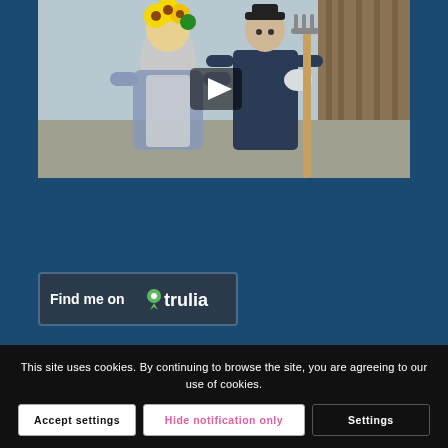[Figure (photo): Two scarecrow figures dressed in old-fashioned clothing standing outdoors. One holds a pitchfork. Sunflowers visible at top. A video play button overlay is in the center of the image.]
[Figure (logo): Trulia real estate badge/button reading 'Find me on trulia' with a green map pin icon and the Trulia logo in white on a dark navy background.]
This site uses cookies. By continuing to browse the site, you are agreeing to our use of cookies.
Accept settings
Hide notification only
Settings